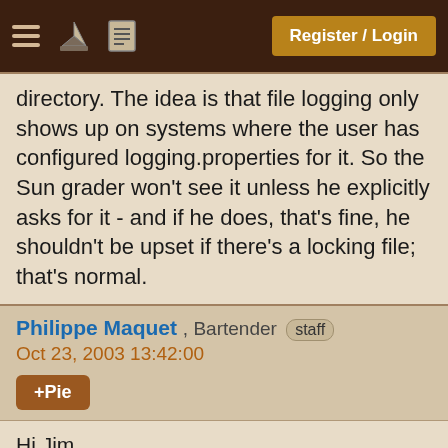Register / Login
directory. The idea is that file logging only shows up on systems where the user has configured logging.properties for it. So the Sun grader won't see it unless he explicitly asks for it - and if he does, that's fine, he shouldn't be upset if there's a locking file; that's normal.
Philippe Maquet , Bartender staff
Oct 23, 2003 13:42:00
+Pie
Hi Jim,
The problem with using the default global logging.properties IMO is that you don't know what the grader will see - or not.
During development, I use a specific config file (got from the system property "java.util.logging.con... may activate/deactivate handlers and set their level, as well as activate/deactivate individual loggers and set their individual levels.